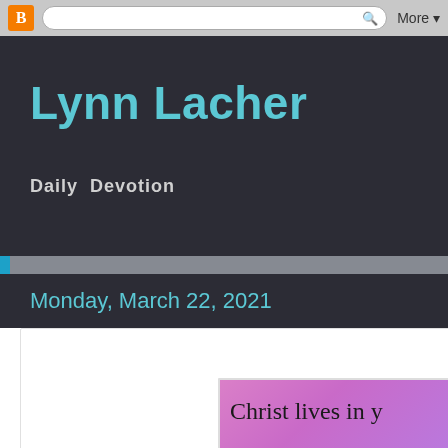Blogger toolbar with logo, search bar, and More dropdown
Lynn Lacher
Daily Devotion
Monday, March 22, 2021
His Redeeming Love Within
[Figure (illustration): Pink/purple gradient image card with text 'Christ lives in y' and 'Romans 8:10' in italic]